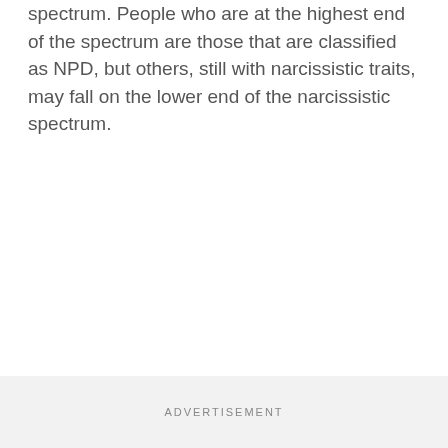spectrum. People who are at the highest end of the spectrum are those that are classified as NPD, but others, still with narcissistic traits, may fall on the lower end of the narcissistic spectrum.
ADVERTISEMENT